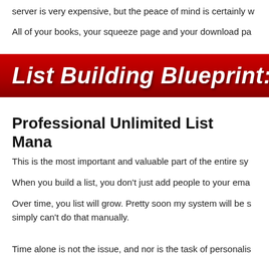server is very expensive, but the peace of mind is certainly w
All of your books, your squeeze page and your download pa
List Building Blueprint: FR
Professional Unlimited List Mana
This is the most important and valuable part of the entire sy
When you build a list, you don't just add people to your ema
Over time, you list will grow. Pretty soon my system will be s simply can't do that manually.
Time alone is not the issue, and nor is the task of personalis